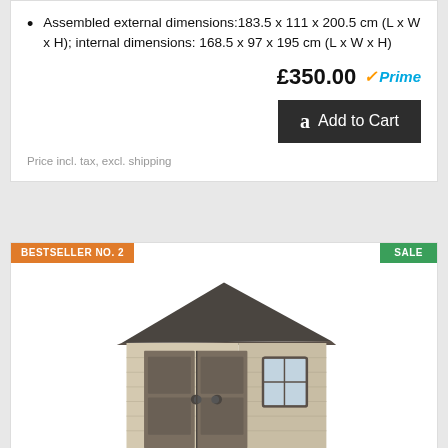Assembled external dimensions:183.5 x 111 x 200.5 cm (L x W x H); internal dimensions: 168.5 x 97 x 195 cm (L x W x H)
£350.00 Prime
Add to Cart
Price incl. tax, excl. shipping
BESTSELLER NO. 2
SALE
[Figure (photo): Photo of a large plastic/resin garden shed with double doors and a window on the right side, beige/tan color with grey-brown roof and doors]